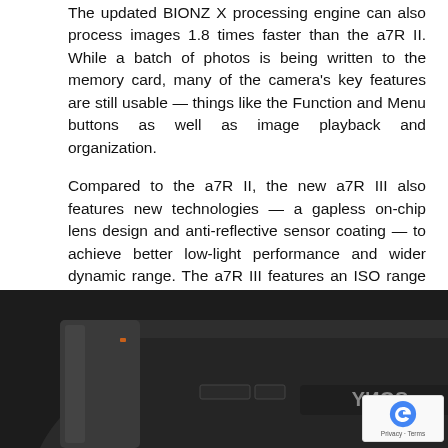The updated BIONZ X processing engine can also process images 1.8 times faster than the a7R II. While a batch of photos is being written to the memory card, many of the camera's key features are still usable — things like the Function and Menu buttons as well as image playback and organization.
Compared to the a7R II, the new a7R III also features new technologies — a gapless on-chip lens design and anti-reflective sensor coating — to achieve better low-light performance and wider dynamic range. The a7R III features an ISO range of 100-32000 (expandable to 50-102400) and a ginormous 15-stop dynamic range at low ISOs.
[Figure (photo): Top-down view of a Sony a7R III camera body in black, showing the top plate with dials, controls labeled C1, C2, and the Sony logo visible from an overhead angle.]